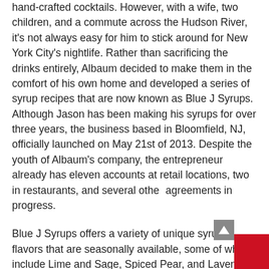hand-crafted cocktails.  However, with a wife, two children, and a commute across the Hudson River, it's not always easy for him to stick around for New York City's nightlife.  Rather than sacrificing the drinks entirely, Albaum decided to make them in the comfort of his own home and developed a series of syrup recipes that are now known as Blue J Syrups.  Although Jason has been making his syrups for over three years, the business based in Bloomfield, NJ, officially launched on May 21st of 2013.  Despite the youth of Albaum's company, the entrepreneur already has eleven accounts at retail locations, two in restaurants, and several other agreements in progress.
Blue J Syrups offers a variety of unique syrup flavors that are seasonally available, some of which include Lime and Sage, Spiced Pear, and Lavender Earl Grey.  Recipes in the works for the holiday season will include ingredients such as cranberries and sugar plums.  Albaum works single-handedly to produce thirty gallons of each syrup flavor at a time, using as much locally sourced whole fruit as possible.  Blue J Syrups contain no powders, extracts, or anything else artificial, and maintain their